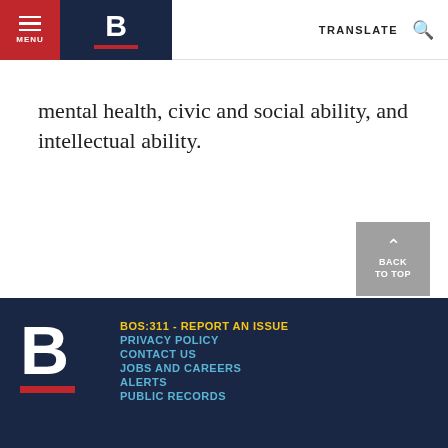MENU | B | TRANSLATE
mental health, civic and social ability, and intellectual ability.
BOS:311 - REPORT AN ISSUE | PRIVACY POLICY | CONTACT US | JOBS AND CAREERS | ALERTS | PUBLIC RECORDS